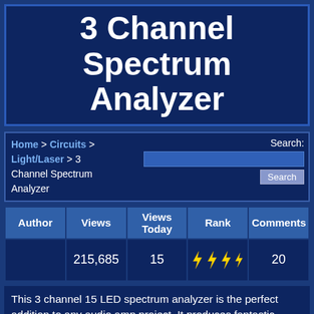3 Channel Spectrum Analyzer
Home > Circuits > Light/Laser > 3 Channel Spectrum Analyzer
| Author | Views | Views Today | Rank | Comments |
| --- | --- | --- | --- | --- |
|  | 215,685 | 15 | ⚡⚡⚡⚡ | 20 |
This 3 channel 15 LED spectrum analyzer is the perfect addition to any audio amp project. It produces fantastic displays on three LED bars that can be individually adjusted for any particular frequency range. The circuit will take line level output from most any audio source, and operates on 12V DC. This means that it can even be run in a car.
Schematic